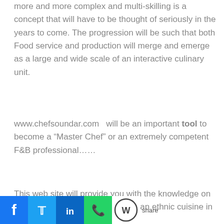more and more complex and multi-skilling is a concept that will have to be thought of seriously in the years to come. The progression will be such that both Food service and production will merge and emerge as a large and wide scale of an interactive culinary unit.
www.chefsoundar.com  will be an important tool to become a “Master Chef” or an extremely competent F&B professional……
This web site will provide you with the knowledge on traditional cuisine, Indian and Indian ethnic cuisine in the facets of